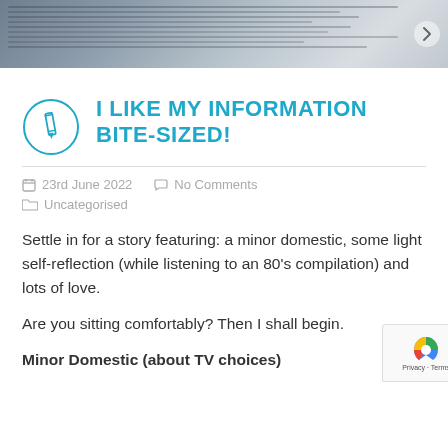[Figure (photo): Cropped top image showing open dictionary/newspaper pages, used as a blog header image. A navigation arrow is visible on the right side.]
I LIKE MY INFORMATION BITE-SIZED!
23rd June 2022   No Comments
Uncategorised
Settle in for a story featuring: a minor domestic, some light self-reflection (while listening to an 80's compilation) and lots of love.
Are you sitting comfortably? Then I shall begin.
Minor Domestic (about TV choices)